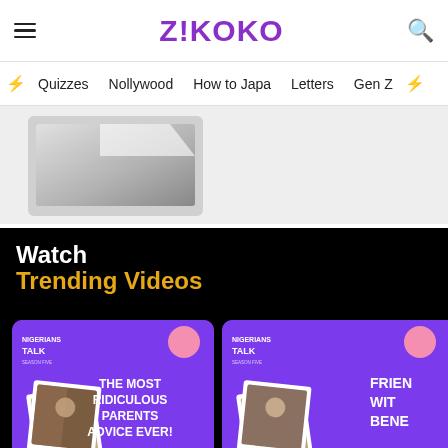Z!KOKO
Quizzes  Nollywood  How to Japa  Letters  Gen Z
[Figure (photo): Partial image showing a laptop or paper on a grey background]
Watch Trending Videos
[Figure (photo): Nigerians Talk video thumbnail - The Most Ridiculous Parents Advice Ever!]
[Figure (photo): Nigerians Talk video thumbnail - Friends With Benefits Are...]
The Most Ridiculous Parents
Friends With Benefits Are